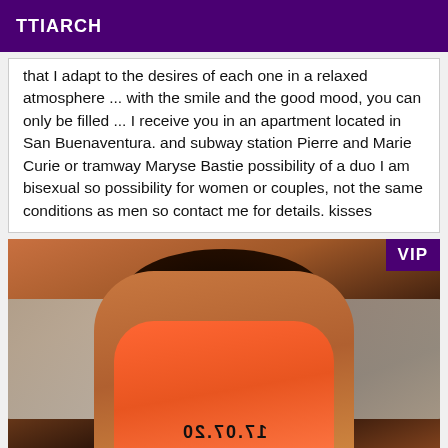TTIARCH
that I adapt to the desires of each one in a relaxed atmosphere ... with the smile and the good mood, you can only be filled ... I receive you in an apartment located in San Buenaventura. and subway station Pierre and Marie Curie or tramway Maryse Bastie possibility of a duo I am bisexual so possibility for women or couples, not the same conditions as men so contact me for details. kisses
[Figure (photo): Photo of a person lying face down wearing an orange/coral top, with pillows visible. A VIP badge is shown in the top right corner. Text '17.07.20' appears mirrored on the garment.]